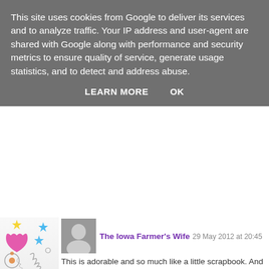This site uses cookies from Google to deliver its services and to analyze traffic. Your IP address and user-agent are shared with Google along with performance and security metrics to ensure quality of service, generate usage statistics, and to detect and address abuse.
LEARN MORE    OK
The Iowa Farmer's Wife  29 May 2012 at 20:45
This is adorable and so much like a little scrapbook. And I pinned it this morning! :) And what a goof I am
Reply
▾ Replies
Kat  29 May 2012 at 21:05
Haha, yes a lot of people think that! :)
Thanks for pinning and the lovely comment about everything Jake loves!! :)
Reply